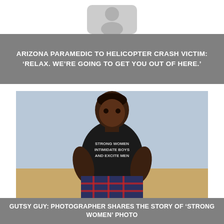[Figure (other): Gray placeholder icon with rounded rectangle shape at top of page]
ARIZONA PARAMEDIC TO HELICOPTER CRASH VICTIM: ‘RELAX. WE’RE GOING TO GET YOU OUT OF HERE.’
[Figure (photo): A woman wearing a black sleeveless shirt that reads 'STRONG WOMEN INTIMIDATE BOYS AND EXCITE MEN', with a plaid skirt tied around her waist, posing outdoors at a sandy beach with her hands on her hips, looking to the side.]
GUTSY GUY: PHOTOGRAPHER SHARES THE STORY OF ‘STRONG WOMEN’ PHOTO